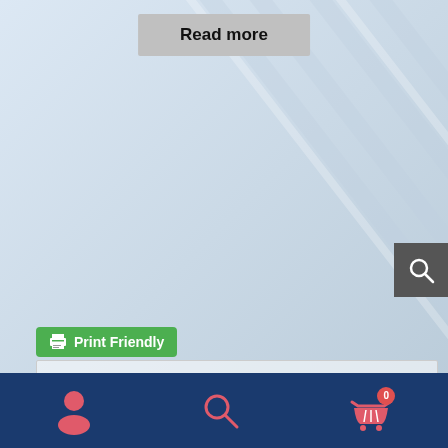Read more
[Figure (screenshot): Green Print Friendly button with printer icon]
[Figure (illustration): Circular illustration of Virgin Mary standing on water with hands clasped in prayer, surrounded by clouds and light rays]
Virgo Sacrata
VIRGÓ SACRÁTA is a Christian mission-driven online
[Figure (screenshot): Bottom navigation bar with user, search, and cart icons on dark blue background]